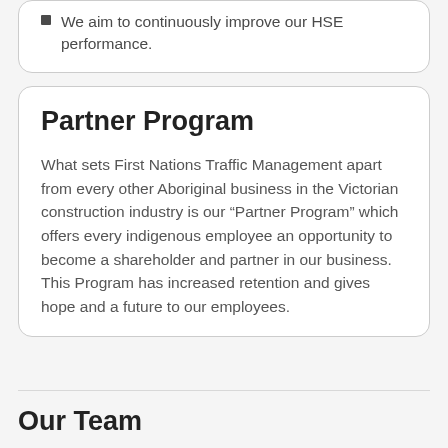We aim to continuously improve our HSE performance.
Partner Program
What sets First Nations Traffic Management apart from every other Aboriginal business in the Victorian construction industry is our “Partner Program” which offers every indigenous employee an opportunity to become a shareholder and partner in our business. This Program has increased retention and gives hope and a future to our employees.
Our Team